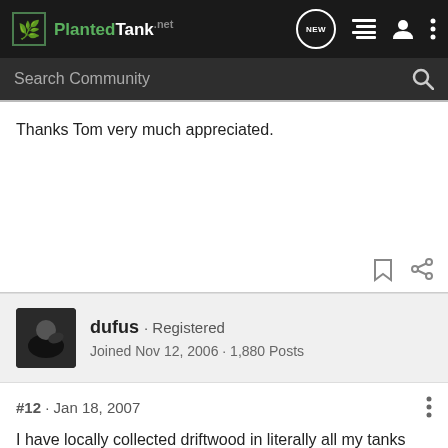PlantedTank · NEW
Thanks Tom very much appreciated.
dufus · Registered
Joined Nov 12, 2006 · 1,880 Posts
#12 · Jan 18, 2007
I have locally collected driftwood in literally all my tanks and